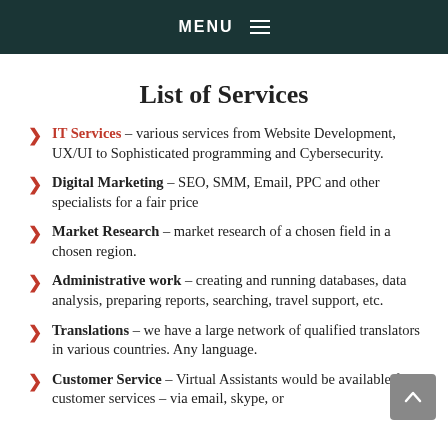MENU
List of Services
IT Services – various services from Website Development, UX/UI to Sophisticated programming and Cybersecurity.
Digital Marketing – SEO, SMM, Email, PPC and other specialists for a fair price
Market Research – market research of a chosen field in a chosen region.
Administrative work – creating and running databases, data analysis, preparing reports, searching, travel support, etc.
Translations – we have a large network of qualified translators in various countries. Any language.
Customer Service – Virtual Assistants would be available for customer services – via email, skype, or